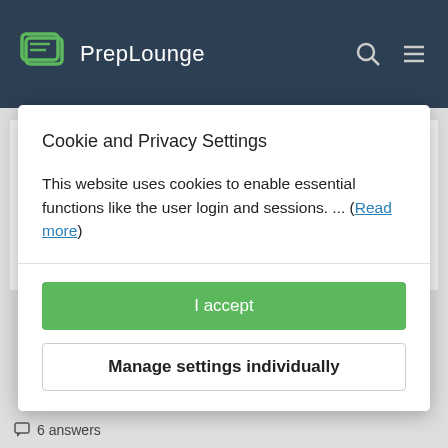PrepLounge
Case interviews can be led by the candidate or by the interviewer. In Candidate-led cases the main challenge is the structure. In Interviewer-led cases the main challenge is to adapt quickly
Cookie and Privacy Settings
This website uses cookies to enable essential functions like the user login and sessions. ... (Read more)
I accept
Manage settings individually
6 answers